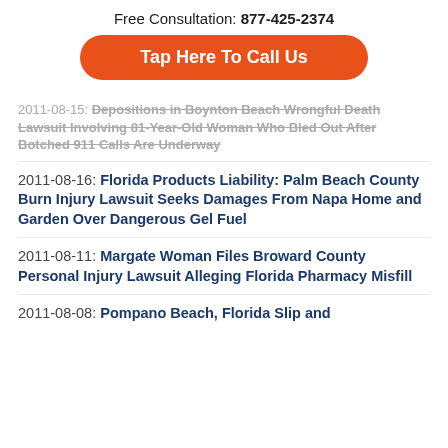Free Consultation: 877-425-2374
[Figure (other): Orange rounded button with text 'Tap Here To Call Us']
2011-08-15: Depositions in Boynton Beach Wrongful Death Lawsuit Involving 81-Year-Old Woman Who Bled Out After Botched 911 Calls Are Underway
2011-08-16: Florida Products Liability: Palm Beach County Burn Injury Lawsuit Seeks Damages From Napa Home and Garden Over Dangerous Gel Fuel
2011-08-11: Margate Woman Files Broward County Personal Injury Lawsuit Alleging Florida Pharmacy Misfill
2011-08-08: Pompano Beach, Florida Slip and